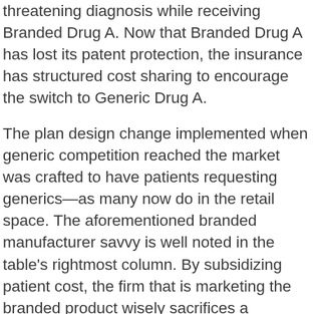threatening diagnosis while receiving Branded Drug A. Now that Branded Drug A has lost its patent protection, the insurance has structured cost sharing to encourage the switch to Generic Drug A.

The plan design change implemented when generic competition reached the market was crafted to have patients requesting generics—as many now do in the retail space. The aforementioned branded manufacturer savvy is well noted in the table's rightmost column. By subsidizing patient cost, the firm that is marketing the branded product wisely sacrifices a marginal amount of revenue to maintain market share. In this scenario that plagues generic substitution in specialty pharmacies all too often, few patients will opt to pay significantly more out of pocket to switch to a generic, a name that wrongly